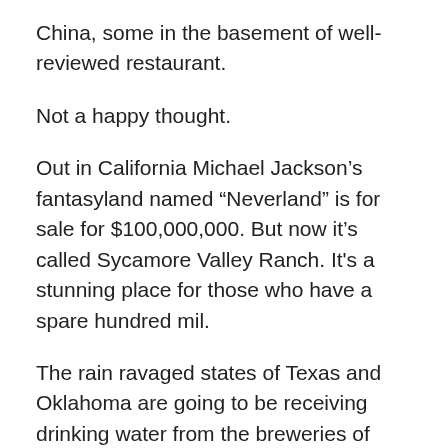China, some in the basement of well-reviewed restaurant.
Not a happy thought.
Out in California Michael Jackson’s fantasyland named “Neverland” is for sale for $100,000,000. But now it’s called Sycamore Valley Ranch. It's a stunning place for those who have a spare hundred mil.
The rain ravaged states of Texas and Oklahoma are going to be receiving drinking water from the breweries of Anheuser-Busch, which halted production of beer at one plant in Georgia and switched to canning drinking water, which is desperately needed. At least thirty-seven are dead in the two states.
Amazon is planning to create its own private label for a variety of foods. Called Elements, its first products were